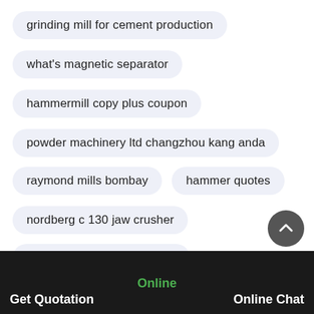grinding mill for cement production
what's magnetic separator
hammermill copy plus coupon
powder machinery ltd changzhou kang anda
raymond mills bombay
hammer quotes
nordberg c 130 jaw crusher
rock crusher network usage
Online  Get Quotation  Online Chat